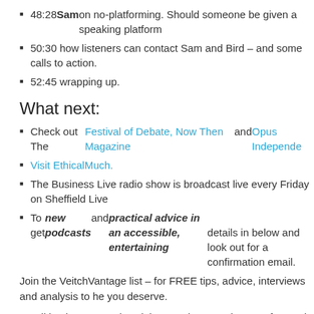48:28 Sam on no-platforming. Should someone be given a speaking platform
50:30 how listeners can contact Sam and Bird – and some calls to action.
52:45 wrapping up.
What next:
Check out The Festival of Debate, Now Then Magazine and Opus Independe
Visit EthicalMuch.
The Business Live radio show is broadcast live every Friday on Sheffield Live
To get new podcasts and practical advice in an accessible, entertaining … details in below and look out for a confirmation email.
Join the VeitchVantage list – for FREE tips, advice, interviews and analysis to he you deserve.
Small businesses and social enterprises need to stay focused, not be derailed, b
Join my free email newsletter list today and I'll send you three strategies which y
Your email address is secure and you can unsubscribe at any time.
Name
Email Address